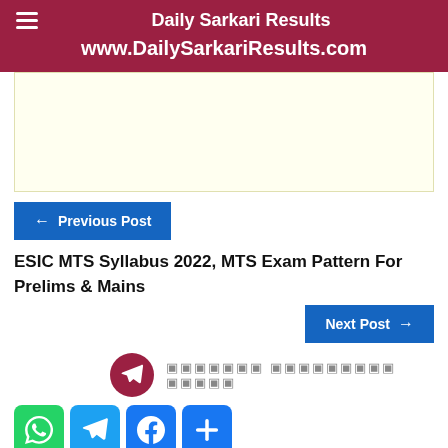Daily Sarkari Results
www.DailySarkariResults.com
[Figure (other): Advertisement banner placeholder with light yellow background]
← Previous Post
ESIC MTS Syllabus 2022, MTS Exam Pattern For Prelims & Mains
Next Post →
xxxxxxx xxxxxxxxx xxxxx
[Figure (other): Social media share icons: WhatsApp, Telegram, Facebook, More]